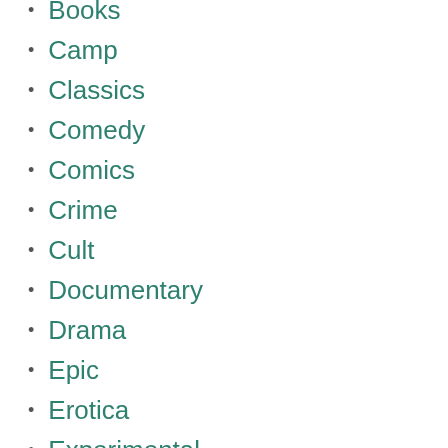Books
Camp
Classics
Comedy
Comics
Crime
Cult
Documentary
Drama
Epic
Erotica
Experimental
Fantasy
Film Noir
Giallo
Horror
Martial Arts
Mystery
Musical
Performance